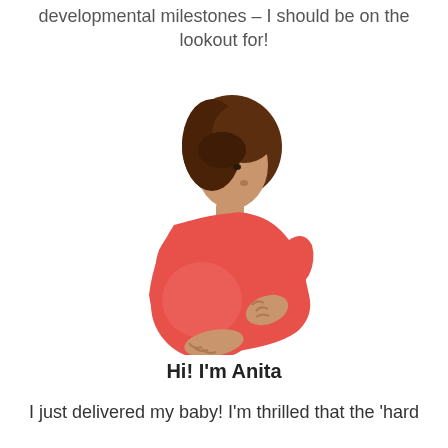developmental milestones – I should be on the lookout for!
[Figure (illustration): Illustration of a pregnant woman with short brown hair, wearing a red/coral top, cradling her baby bump with both hands, shown in profile facing left.]
Hi! I'm Anita
I just delivered my baby! I'm thrilled that the 'hard